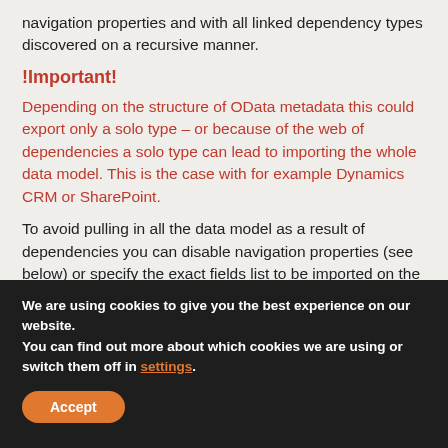navigation properties and with all linked dependency types discovered on a recursive manner.
!Important!
Depending on the structure of OData metadata this could export only a solo type – or because of the web of dependencies a solo type can lead to importing the whole data model. This is the case with for example Dynamics CRM or SharePoint.
To avoid pulling in all the data model as a result of dependencies you can disable navigation properties (see below) or specify the exact fields list to be imported on the Lead type and on the types that will be pulled in the export via navigation field.
We are using cookies to give you the best experience on our website.
You can find out more about which cookies we are using or switch them off in settings.
Accept